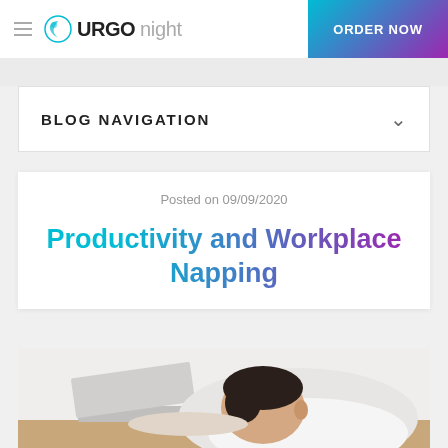URGO night | ORDER NOW
BLOG NAVIGATION
Posted on 09/09/2020
Productivity and Workplace Napping
[Figure (photo): Person sleeping/slumped over a laptop at a desk, viewed from above at an angle. The person has dark hair and is wearing a white shirt.]